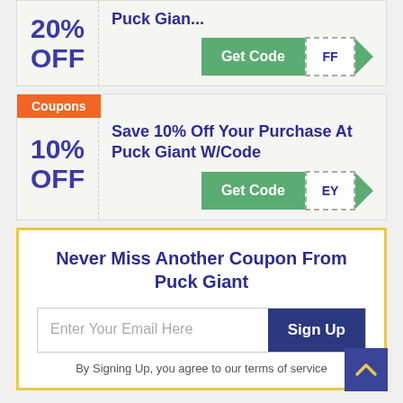20% OFF
Puck Gian...
Get Code FF
Coupons
10% OFF
Save 10% Off Your Purchase At Puck Giant W/Code
Get Code EY
Never Miss Another Coupon From Puck Giant
Enter Your Email Here
Sign Up
By Signing Up, you agree to our terms of service